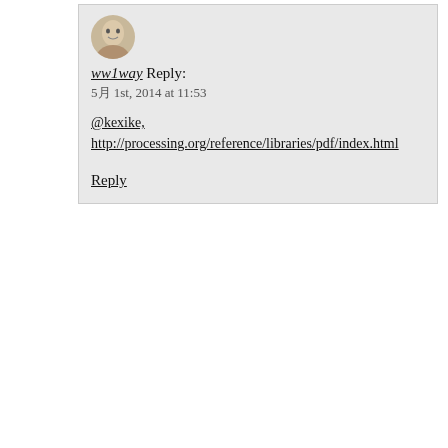[Figure (photo): Avatar photo of user ww1way, a person's face sketch]
ww1way Reply:
5月 1st, 2014 at 11:53
@kexike,
http://processing.org/reference/libraries/pdf/index.html
Reply
回复
[Figure (photo): Avatar icon of a user with green/blue cartoon face]
匿名
2018-06-29 10:30
请问你解决了吗，我现在也遇到这个问题了，谢谢告知一下解决办法感谢感谢